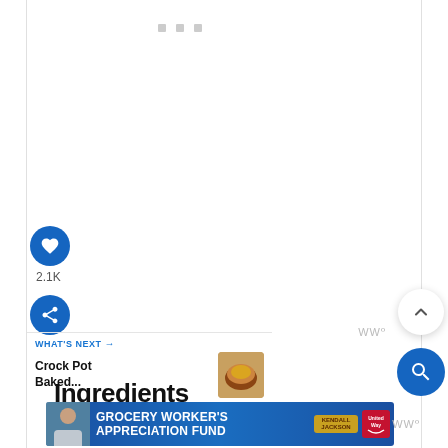[Figure (screenshot): Three small grey square dots indicating a loading or continuation indicator at top of page]
[Figure (screenshot): Blue circular heart/like button with white heart icon]
2.1K
[Figure (screenshot): Blue circular share button with white share icon]
[Figure (screenshot): White circular scroll-to-top button with upward chevron]
WWº (watermark right side)
[Figure (screenshot): Blue circular search button with white magnifying glass icon]
WHAT'S NEXT →
Crock Pot Baked...
Ingredients
[Figure (screenshot): Advertisement banner: GROCERY WORKER'S APPRECIATION FUND with Kendall-Jackson and United Way logos]
WWº (watermark bottom right)